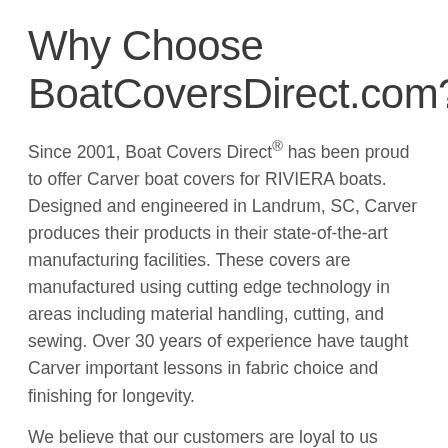Why Choose BoatCoversDirect.com?
Since 2001, Boat Covers Direct® has been proud to offer Carver boat covers for RIVIERA boats. Designed and engineered in Landrum, SC, Carver produces their products in their state-of-the-art manufacturing facilities. These covers are manufactured using cutting edge technology in areas including material handling, cutting, and sewing. Over 30 years of experience have taught Carver important lessons in fabric choice and finishing for longevity.
We believe that our customers are loyal to us because we take care of them. We stock popular RIVIERA covers and ship them out quickly, usually the same day that you place your order. Our customers like purchasing our products, and selling these top quality covers and tops is important to us. Even though you only need to purchase a cover every 5, 7, or sometimes every 10 years, we want